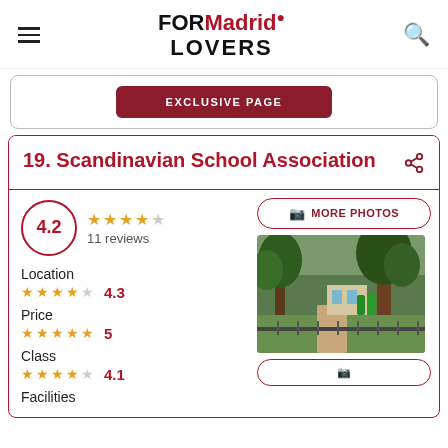FORMadrid LOVERS
EXCLUSIVE PAGE
19. Scandinavian School Association
4.2 — 11 reviews
Location 4.3
Price 5
Class 4.1
Facilities
[Figure (photo): Outdoor view with trees and green area near the school]